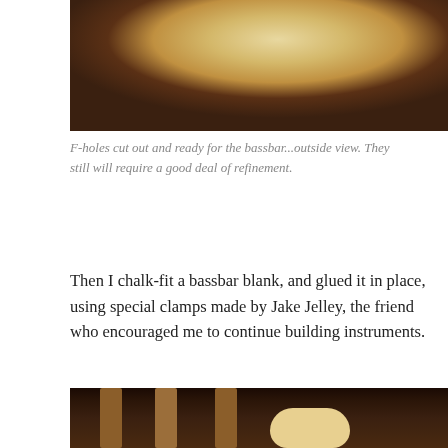[Figure (photo): Top view of a violin or guitar top plate showing the rounded upper bout, light spruce wood visible against a dark brown leather background. F-holes area cut out.]
F-holes cut out and ready for the bassbar...outside view. They still will require a good deal of refinement.
Then I chalk-fit a bassbar blank, and glued it in place, using special clamps made by Jake Jelley, the friend who encouraged me to continue building instruments.
[Figure (photo): Photo showing multiple instrument necks/headstocks with tuning pegs, lying on a dark leather surface. Parts of violin or guitar bodies are visible.]